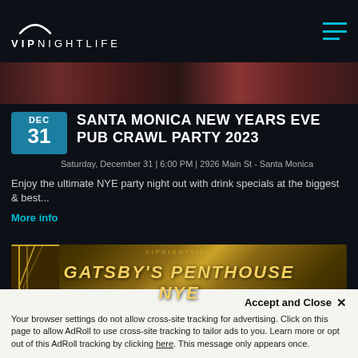VIPNIGHTLIFE
[Figure (photo): Dark red/maroon nightclub banner image]
SANTA MONICA NEW YEARS EVE PUB CRAWL PARTY 2023
Saturday, December 31 | 6:00 PM | 2926 Main St - Santa Monica
Enjoy the ultimate NYE party night out with drink specials at the biggest & best...
More info
[Figure (photo): Gatsby's Penthouse NYE - Art deco styled event poster with a 1920s woman and gold decorative borders]
Accept and Close ✕
Your browser settings do not allow cross-site tracking for advertising. Click on this page to allow AdRoll to use cross-site tracking to tailor ads to you. Learn more or opt out of this AdRoll tracking by clicking here. This message only appears once.